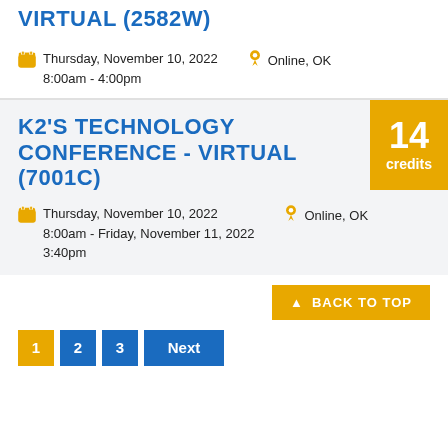VIRTUAL (2582W)
Thursday, November 10, 2022 8:00am - 4:00pm
Online, OK
K2'S TECHNOLOGY CONFERENCE - VIRTUAL (7001C)
14 credits
Thursday, November 10, 2022 8:00am - Friday, November 11, 2022 3:40pm
Online, OK
1
2
3
Next
BACK TO TOP